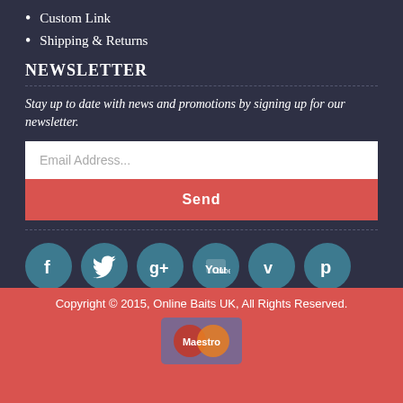Custom Link
Shipping & Returns
NEWSLETTER
Stay up to date with news and promotions by signing up for our newsletter.
[Figure (screenshot): Email address input field with placeholder text 'Email Address...' and a red Send button below]
[Figure (infographic): Social media icons in teal circles: Facebook, Twitter, Google+, YouTube, Vimeo, Pinterest, Skype, Yahoo, LinkedIn, Flickr]
Copyright © 2015, Online Baits UK, All Rights Reserved.
[Figure (logo): Maestro payment card logo]